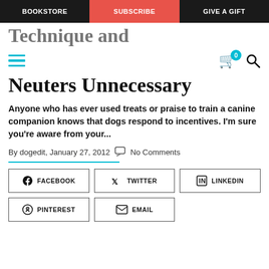BOOKSTORE | SUBSCRIBE | GIVE A GIFT
Neuters Unnecessary
Anyone who has ever used treats or praise to train a canine companion knows that dogs respond to incentives. I'm sure you're aware from your...
By dogedit, January 27, 2012  No Comments
FACEBOOK | TWITTER | LINKEDIN | PINTEREST | EMAIL